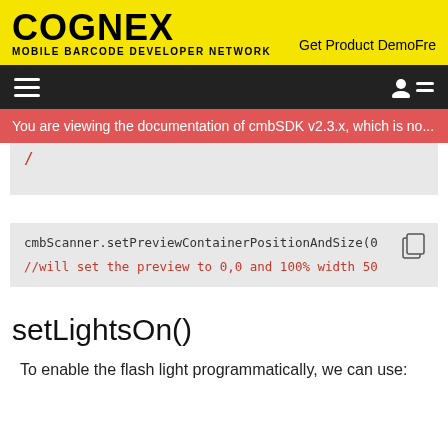COGNEX MOBILE BARCODE DEVELOPER NETWORK | Get Product DemoFre...
You are viewing the documentation of cmbSDK v2.3.x, which is no...
[Figure (screenshot): Partial code block showing a closing brace in red monospace font on light grey background]
[Figure (screenshot): Code block with copy icon showing: cmbScanner.setPreviewContainerPositionAndSize(0... and comment //will set the preview to 0,0 and 100% width 50...]
setLightsOn()
To enable the flash light programmatically, we can use: